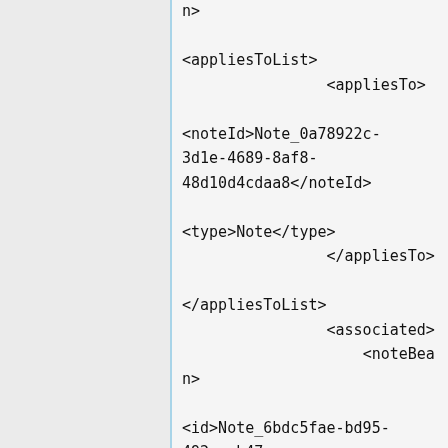n>

<appliesToList>
                <appliesTo>

<noteId>Note_0a78922c-3d1e-4689-8af8-48d10d4cdaa8</noteId>

<type>Note</type>
                </appliesTo>

</appliesToList>
                <associated>
                    <noteBean>

<id>Note_6bdc5fae-bd95-492c-ab47-0aaae7a2193a</id>

<ontologyId>1104</ontologyId>

<type>Comment</type>